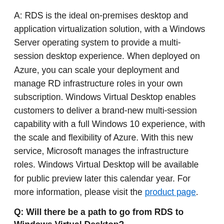A: RDS is the ideal on-premises desktop and application virtualization solution, with a Windows Server operating system to provide a multi-session desktop experience. When deployed on Azure, you can scale your deployment and manage RD infrastructure roles in your own subscription. Windows Virtual Desktop enables customers to deliver a brand-new multi-session capability with a full Windows 10 experience, with the scale and flexibility of Azure. With this new service, Microsoft manages the infrastructure roles. Windows Virtual Desktop will be available for public preview later this calendar year. For more information, please visit the product page.
Q: Will there be a path to go from RDS to Windows Virtual Desktop?
A: Yes, we are developing Azure documentation guidance for this migration path as Windows Virtual Desktop gets closer to public preview later in calendar year 2018.